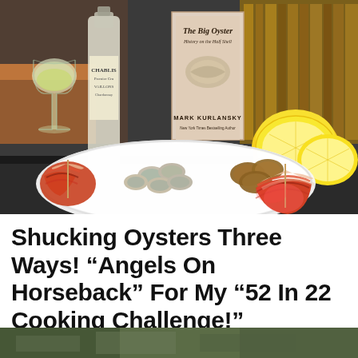[Figure (photo): A white plate with oysters three ways: raw oysters on the half shell, fried oysters, and bacon-wrapped oysters (Angels on Horseback) with toothpicks. Background shows a wine glass with white wine, a bottle of Chablis, a book titled 'The Big Oyster: History on the Half Shell' by Mark Kurlansky, and two halved lemons on a dark countertop with bookshelves in the background.]
Shucking Oysters Three Ways! "Angels On Horseback" For My "52 In 22 Cooking Challenge!"
[Figure (photo): Partial view of another photo at the bottom of the page, showing a green/outdoor scene, partially cropped.]